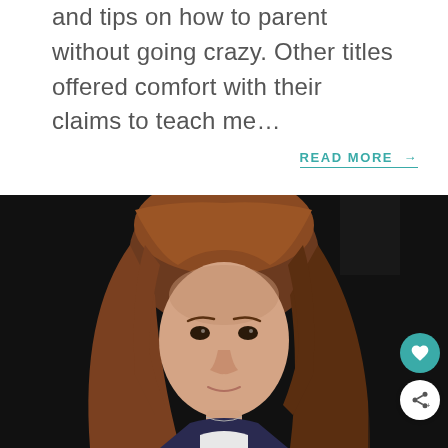and tips on how to parent without going crazy. Other titles offered comfort with their claims to teach me…
READ MORE →
[Figure (photo): Close-up portrait of a young red-haired girl looking downward with a serious expression, set against a dark background]